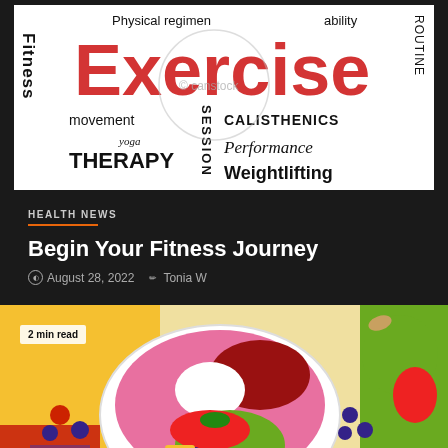[Figure (illustration): Word cloud / typography collage on white background featuring fitness-related words: Exercise (large red), Fitness (vertical left), Physical regimen, ability, movement, SESSION (vertical), CALISTHENICS, yoga, Performance, THERAPY, Weightlifting, routine (vertical right). Contains a watermark overlay.]
HEALTH NEWS
Begin Your Fitness Journey
August 28, 2022   Tonia W
[Figure (photo): Overhead flat-lay photo of colorful fruit bowls and fresh fruits: smoothie bowl topped with pomegranate seeds, strawberries, blueberries, kiwi and coconut; surrounded by sliced mango with raspberries and blueberries, kiwi halves, strawberries, blueberries, almonds, and citrus. Badge overlay reads '2 min read'. Orange scroll-to-top button visible bottom right.]